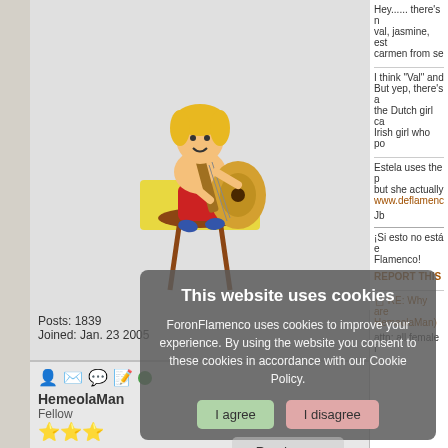[Figure (illustration): Cartoon illustration of a child with blonde hair playing a guitar, sitting on a stool, wearing red pants]
Posts: 1839
Joined: Jan. 23 2005
This website uses cookies
ForonFlamenco uses cookies to improve your experience. By using the website you consent to these cookies in accordance with our Cookie Policy.
I agree  I disagree
Read more
Free cookie consent by cookie-script.com
Hey...... there's n val, jasmine, est carmen from se
I think "Val" and But yep, there's a the Dutch girl ca Irish girl who po
Estela uses the p but she actually www.deflamenc
Jb
¡Si esto no está e Flamenco!
REPORT THIS
RE: Why are HemeolaMan)
HemeolaMan
Fellow
attn: all female f